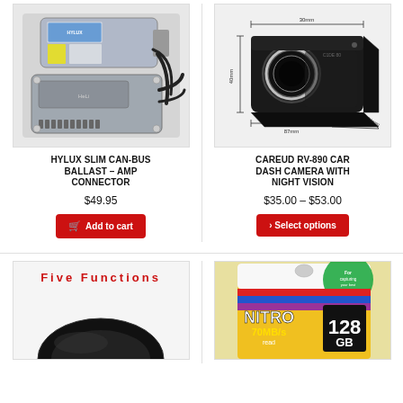[Figure (photo): Hylux slim can-bus ballast amp connector product photo showing two silver electronic control units with black cables]
[Figure (photo): Careud RV-890 car dash camera with night vision product photo showing a black dash camera with dimension callouts: 30mm width, 40mm height, 87mm length, 54mm depth]
HYLUX SLIM CAN-BUS BALLAST – AMP CONNECTOR
CAREUD RV-890 CAR DASH CAMERA WITH NIGHT VISION
$49.95
$35.00 – $53.00
Add to cart
Select options
[Figure (photo): Product with 'Five Functions' text and black device partially visible at bottom]
[Figure (photo): Nitro 70MB/s 128GB memory card product packaging in yellow and colorful design]